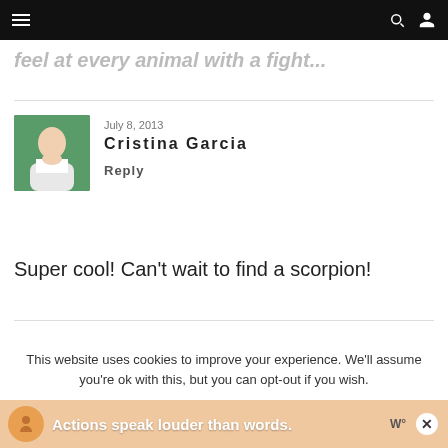Navigation bar with hamburger menu, search and user icons
feel at every animal with a fight...
July 8, 2013
Cristina Garcia
Reply
Super cool! Can't wait to find a scorpion!
This website uses cookies to improve your experience. We'll assume you're ok with this, but you can opt-out if you wish.
[Figure (photo): Advertisement banner: Actions speak louder than words.]